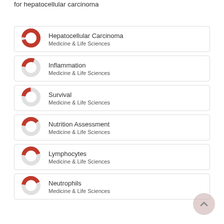for hepatocellular carcinoma
[Figure (donut-chart): Donut chart nearly fully filled red - Hepatocellular Carcinoma, Medicine & Life Sciences]
Hepatocellular Carcinoma
Medicine & Life Sciences
[Figure (donut-chart): Donut chart about 30% filled red - Inflammation, Medicine & Life Sciences]
Inflammation
Medicine & Life Sciences
[Figure (donut-chart): Donut chart about 25% filled red - Survival, Medicine & Life Sciences]
Survival
Medicine & Life Sciences
[Figure (donut-chart): Donut chart about 40% filled red - Nutrition Assessment, Medicine & Life Sciences]
Nutrition Assessment
Medicine & Life Sciences
[Figure (donut-chart): Donut chart about 45% filled red - Lymphocytes, Medicine & Life Sciences]
Lymphocytes
Medicine & Life Sciences
[Figure (donut-chart): Donut chart about 42% filled red - Neutrophils, Medicine & Life Sciences]
Neutrophils
Medicine & Life Sciences